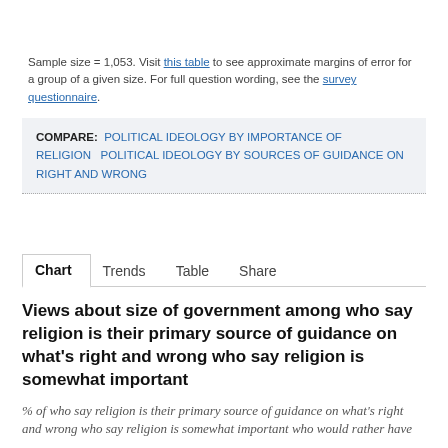Sample size = 1,053. Visit this table to see approximate margins of error for a group of a given size. For full question wording, see the survey questionnaire.
COMPARE: POLITICAL IDEOLOGY BY IMPORTANCE OF RELIGION   POLITICAL IDEOLOGY BY SOURCES OF GUIDANCE ON RIGHT AND WRONG
Chart   Trends   Table   Share
Views about size of government among who say religion is their primary source of guidance on what's right and wrong who say religion is somewhat important
% of who say religion is their primary source of guidance on what's right and wrong who say religion is somewhat important who would rather have